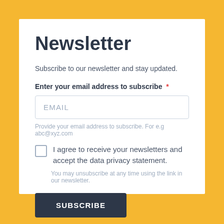Newsletter
Subscribe to our newsletter and stay updated.
Enter your email address to subscribe *
EMAIL
Provide your email address to subscribe. For e.g abc@xyz.com
I agree to receive your newsletters and accept the data privacy statement.
You may unsubscribe at any time using the link in our newsletter.
SUBSCRIBE